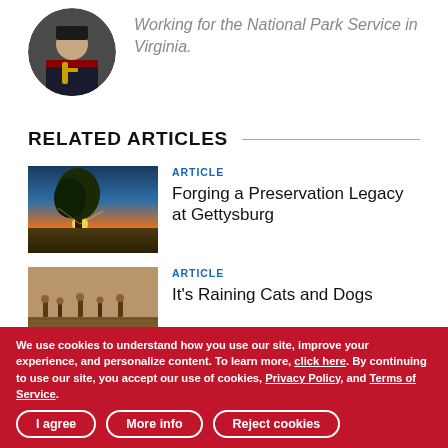[Figure (photo): Circular portrait photo of a person in a uniform holding what appears to be a brass instrument, with red and black attire.]
Working for the National Park Service in Virginia.
RELATED ARTICLES
[Figure (photo): Landscape photo of a tree silhouetted against a colorful sunset sky over a field.]
ARTICLE
Forging a Preservation Legacy at Gettysburg
[Figure (photo): Sepia-toned historical photo or illustration of soldiers or figures in a battlefield scene.]
ARTICLE
It's Raining Cats and Dogs
We use cookies to understand how you use our site, improve your experience, and personalize content. To learn more, click here. By continuing to use our site, you accept our use of cookies, Privacy Policy, and Terms of Service.